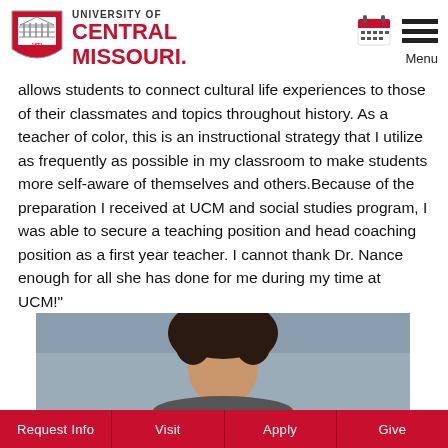University of Central Missouri
allows students to connect cultural life experiences to those of their classmates and topics throughout history. As a teacher of color, this is an instructional strategy that I utilize as frequently as possible in my classroom to make students more self-aware of themselves and others.Because of the preparation I received at UCM and social studies program, I was able to secure a teaching position and head coaching position as a first year teacher. I cannot thank Dr. Nance enough for all she has done for me during my time at UCM!"
[Figure (photo): Portrait photo of a person, showing head and upper shoulders against a blueish-grey background]
Request Info | Visit | Apply | Give